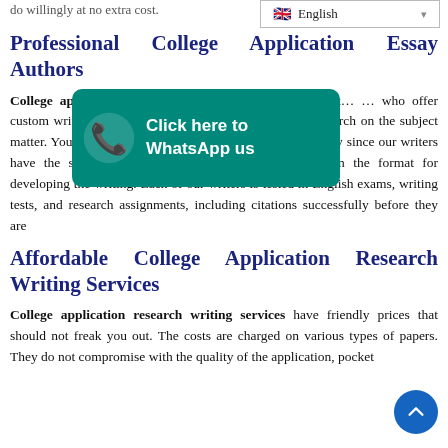do willingly at no extra cost.
[Figure (screenshot): Language selector dropdown showing English with flag icon and dropdown arrow]
Professional College Application Essay Authors
[Figure (infographic): Green WhatsApp button overlay with phone icon and text 'Click here to WhatsApp us']
College application … efficient and useful to the client … who offer custom writing services … from scratch with in-depth research on the subject matter. You do not have to worry about the application essay since our writers have the skills in fresh creation and the knowledge on the format for developing the writing. Each of our writers is tested in English exams, writing tests, and research assignments, including citations successfully before they are
Affordable College Application Research Writing Services
College application research writing services have friendly prices that should not freak you out. The costs are charged on various types of papers. They do not compromise with the quality of the application, pocket